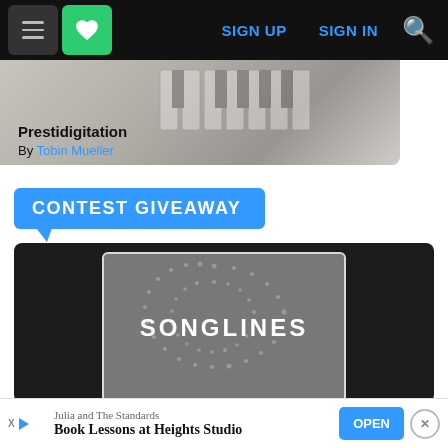[Figure (screenshot): Website navigation bar with hamburger menu, green heart icon, SIGN UP and SIGN IN links in blue, and yellow search icon on black background]
[Figure (photo): Partial photo of hands at piano keyboard, grayscale, partially visible behind article title overlay]
Prestidigitation
By Tobin Mueller
[Figure (infographic): Blue pill-shaped badge with white text reading CONTEST GIVEAWAY with a downward pointing triangle arrow below]
[Figure (screenshot): Dark card showing Songlines magazine logo: white text SONGLINES on gray background with decorative dot circle pattern, within a dark container]
[Figure (screenshot): Advertisement banner: Julia and The Standards, Book Lessons at Heights Studio, with OPEN button and close X button]